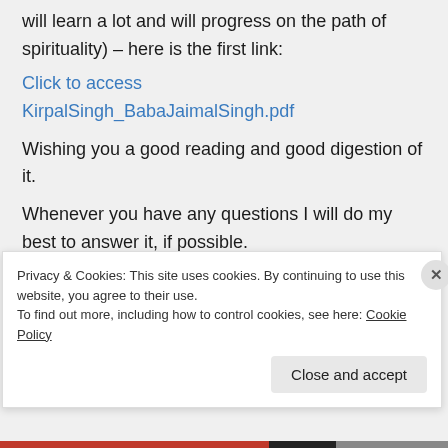will learn a lot and will progress on the path of spirituality) – here is the first link:
Click to access KirpalSingh_BabaJaimalSingh.pdf
Wishing you a good reading and good digestion of it.
Whenever you have any questions I will do my best to answer it, if possible.
Privacy & Cookies: This site uses cookies. By continuing to use this website, you agree to their use. To find out more, including how to control cookies, see here: Cookie Policy
Close and accept